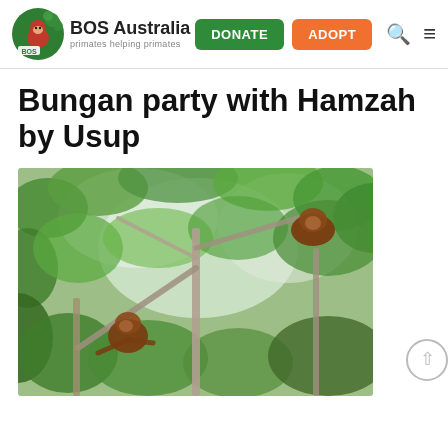BOS Australia — primates helping primates | DONATE | ADOPT
Bungan party with Hamzah by Usup
[Figure (photo): Two orangutans sitting high in a tree canopy with green leaves and bare branches visible against a bright sky.]